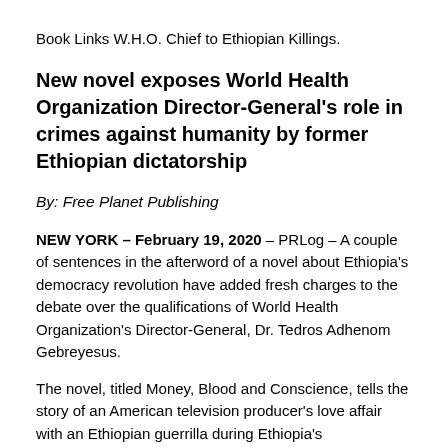Book Links W.H.O. Chief to Ethiopian Killings.
New novel exposes World Health Organization Director-General's role in crimes against humanity by former Ethiopian dictatorship
By: Free Planet Publishing
NEW YORK – February 19, 2020 – PRLog – A couple of sentences in the afterword of a novel about Ethiopia's democracy revolution have added fresh charges to the debate over the qualifications of World Health Organization's Director-General, Dr. Tedros Adhenom Gebreyesus.
The novel, titled Money, Blood and Conscience, tells the story of an American television producer's love affair with an Ethiopian guerrilla during Ethiopia's